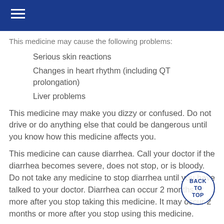This medicine may cause the following problems:
Serious skin reactions
Changes in heart rhythm (including QT prolongation)
Liver problems
This medicine may make you dizzy or confused. Do not drive or do anything else that could be dangerous until you know how this medicine affects you.
This medicine can cause diarrhea. Call your doctor if the diarrhea becomes severe, does not stop, or is bloody. Do not take any medicine to stop diarrhea until you have talked to your doctor. Diarrhea can occur 2 months or more after you stop taking this medicine. It may occur 2 months or more after you stop using this medicine.